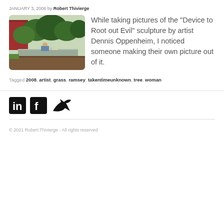JANUARY 3, 2006 by Robert Thivierge
[Figure (photo): Outdoor scene with a person sitting near a low concrete wall, surrounded by green bushes and trees, with a red building visible in the background.]
While taking pictures of the "Device to Root out Evil" sculpture by artist Dennis Oppenheim, I noticed someone making their own picture out of it.
Tagged 2008, artist, grass, ramsey, takentimeunknown, tree, woman
[Figure (other): Social media icons: LinkedIn, Facebook, Twitter]
© 2021 Robert Thivierge - All rights reserved